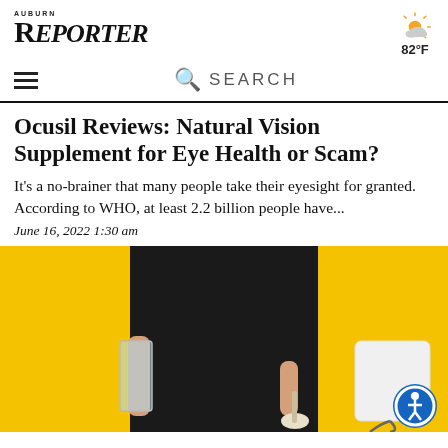AUBURN REPORTER
82°F
Ocusil Reviews: Natural Vision Supplement for Eye Health or Scam?
It's a no-brainer that many people take their eyesight for granted. According to WHO, at least 2.2 billion people have...
June 16, 2022 1:30 am
[Figure (photo): Person in black outfit holding a glass and supplement spoon against a yellow background, with accessibility button overlay]